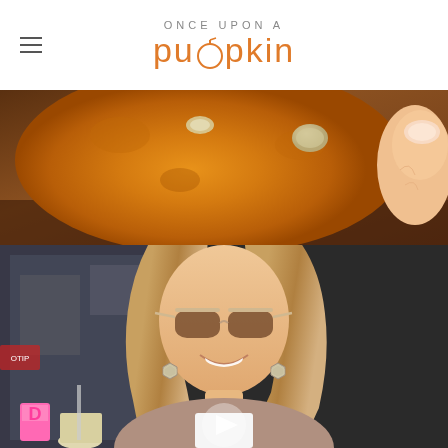ONCE UPON A pumpkin
[Figure (photo): Close-up photo of a pumpkin-colored item (appears to be a donut or pumpkin-shaped food) being held by fingers, with a small coin-shaped object on it, on a warm brown background.]
[Figure (photo): Photo of a smiling woman with long wavy blonde hair, wearing sunglasses and hexagonal earrings, in front of a Dunkin' Donuts store. A play button overlay is visible at the bottom center.]